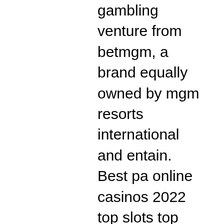gambling venture from betmgm, a brand equally owned by mgm resorts international and entain. Best pa online casinos 2022 top slots top sign-up bonus offers   find the best online casino site for players from pa here. Online gambling in pa (04/2022) » want to know the legal situation in pa? we have all the info &amp; top online casino get up to $2000. The best online casinos in pennsylvania: top 10 pa casino sites ranked. The best online casinos in pa are amazing – offering players in the. Best online casinos pennsylvania ✪ updated information ♠ comprehensive reviews ◇  hella bonus comparisons ♣ all you need to know ♡ enter now. If you are in the mood for some live casino action, online slots, or sports betting, the good news is that you can do it in the keystone state without. According to playpennsylvania, sportsbooks are up 29% from january 2021, achieving an additional $178. 4m in revenue this january (2022).